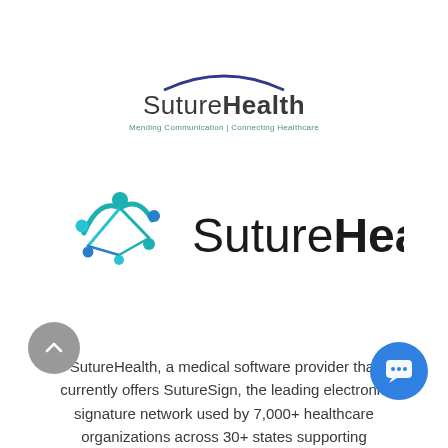[Figure (logo): SutureHealth logo — text-based with arc above; subtitle reads 'Mending Communication | Connecting Healthcare']
[Figure (logo): SutureHealth logo — large version with teal/blue people icon on the left and bold 'SutureHealth' text on the right]
SutureHealth, a medical software provider that currently offers SutureSign, the leading electronic signature network used by 7,000+ healthcare organizations across 30+ states supporting